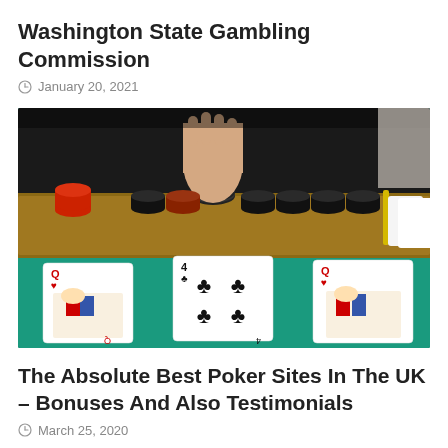Washington State Gambling Commission
January 20, 2021
[Figure (photo): A hand picking up a black $100 poker chip from a tray of stacked poker chips of various colors on a green felt casino table, with three playing cards (Queen of Hearts, 6 of Clubs, Queen of Hearts) visible in the foreground.]
The Absolute Best Poker Sites In The UK – Bonuses And Also Testimonials
March 25, 2020